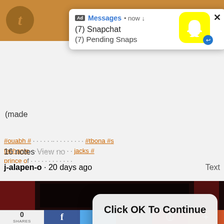[Figure (screenshot): Screenshot of a mobile phone screen showing a Tumblr app page with a Snapchat notification ad popup at top reading 'Ad Messages • now ↓ (7) Snapchat (7) Pending Snaps' with Snapchat ghost logo, a dialog box in the center saying 'Click OK To Continue' with an OK button, hashtag text in orange, a user attribution line 'j-alapen-o · 20 days ago Text', a dark image strip, and a social share bar at the bottom showing 0 SHARES with Facebook, Twitter, Email, Pinterest, and plus buttons.]